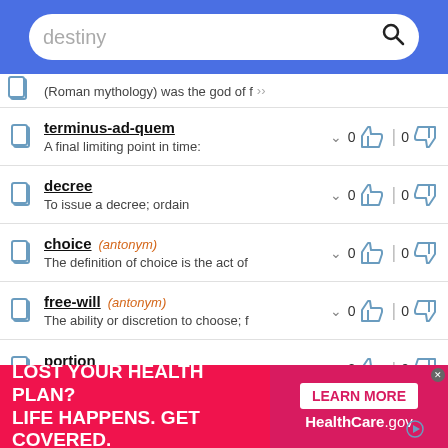destiny [search]
(Roman mythology) was the god of f...
terminus-ad-quem — A final limiting point in time: — 0 likes | 0 dislikes
decree — To issue a decree; ordain — 0 likes | 0 dislikes
choice (antonym) — The definition of choice is the act of... — 0 likes | 0 dislikes
free-will (antonym) — The ability or discretion to choose; f... — 0 likes | 0 dislikes
portion — 0 likes | 0 dislikes
[Figure (screenshot): Advertisement banner: LOST YOUR HEALTH PLAN? LIFE HAPPENS. GET COVERED. | LEARN MORE | HealthCare.gov]